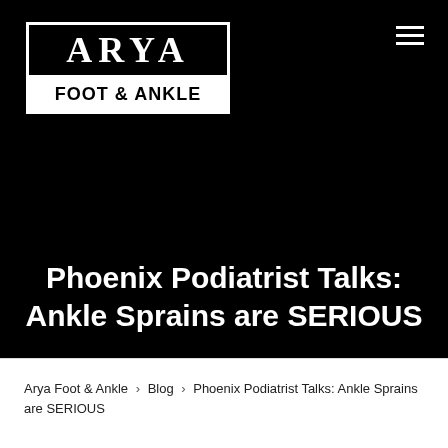[Figure (logo): Arya Foot & Ankle logo — white text on black for 'ARYA' and black text on white for 'FOOT & ANKLE', enclosed in a rectangular border]
Phoenix Podiatrist Talks: Ankle Sprains are SERIOUS
Arya Foot & Ankle > Blog > Phoenix Podiatrist Talks: Ankle Sprains are SERIOUS